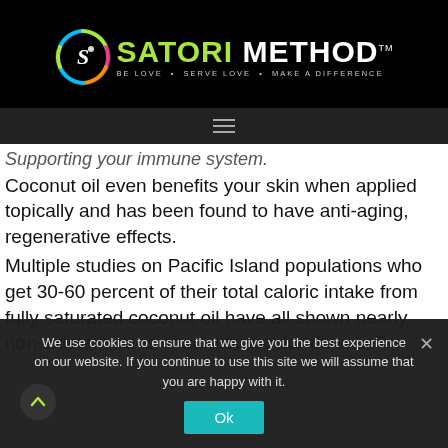[Figure (logo): Satori Method logo with circular rainbow icon and green/white brand name. Tagline: BE LOVE • SERVE LOVE • MAKE A DIFFERENCE]
Supporting your immune system.
Coconut oil even benefits your skin when applied topically and has been found to have anti-aging, regenerative effects.
Multiple studies on Pacific Island populations who get 30-60 percent of their total caloric intake from fully saturated coconut oil have all shown nearly non-existent rates of cardiovascular disease?
We use cookies to ensure that we give you the best experience on our website. If you continue to use this site we will assume that you are happy with it.